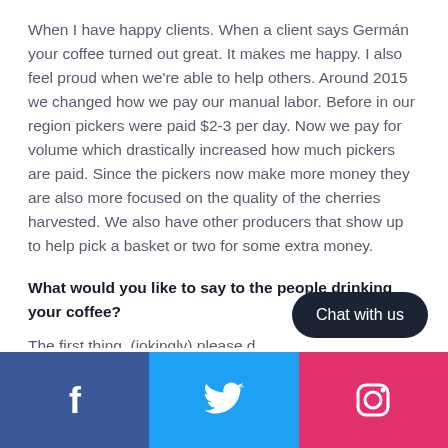When I have happy clients. When a client says Germán your coffee turned out great. It makes me happy. I also feel proud when we're able to help others. Around 2015 we changed how we pay our manual labor. Before in our region pickers were paid $2-3 per day. Now we pay for volume which drastically increased how much pickers are paid. Since the pickers now make more money they are also more focused on the quality of the cherries harvested. We also have other producers that show up to help pick a basket or two for some extra money.
What would you like to say to the people drinking your coffee?
The first thing, (jokingly) please d…
[Figure (other): Dark rounded rectangle button with text 'Chat with us' in white]
Social media footer with Facebook, Twitter, and Instagram icons